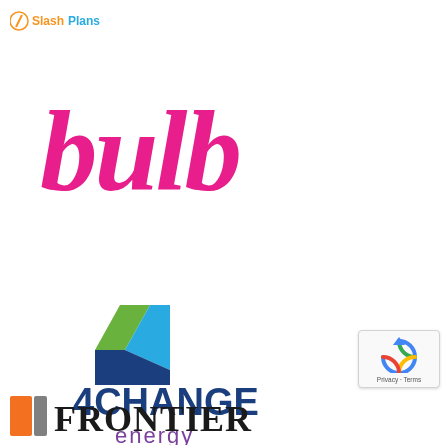[Figure (logo): SlashPlan watermark logo in top-left corner, orange and blue text]
[Figure (logo): Bulb energy company logo in large pink/magenta cursive script]
[Figure (logo): 4Change Energy logo with colorful number 4 graphic above dark blue and purple text reading 4CHANGE energy]
[Figure (logo): Frontier logo with orange and gray square icon and bold serif FRONTIER text]
[Figure (other): Google reCAPTCHA badge in bottom right corner showing spinning arrow icon and Privacy - Terms text]